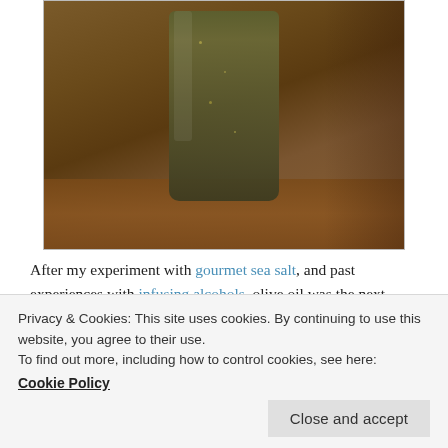[Figure (photo): A glass jar filled with dark green herb-infused olive oil or spice mixture, sitting on a wooden surface. The jar contents appear to contain herbs, spices, and possibly crushed pepper or sea salt.]
After my experiment with gourmet sea salt, and past experiences with infusing alcohols, olive oil was the next logical step. At least to me. I love when Italian restaurants line their shelves with huge bottles of olive oil filled with floating peppers, sun dried tomatoes, herbs and spices. Without fail you can walk into some of the most illogical stores–Marshalls, Century 21, Home Goods, and find
Privacy & Cookies: This site uses cookies. By continuing to use this website, you agree to their use.
To find out more, including how to control cookies, see here:
Cookie Policy
to process the fancy store bought olive oils, but